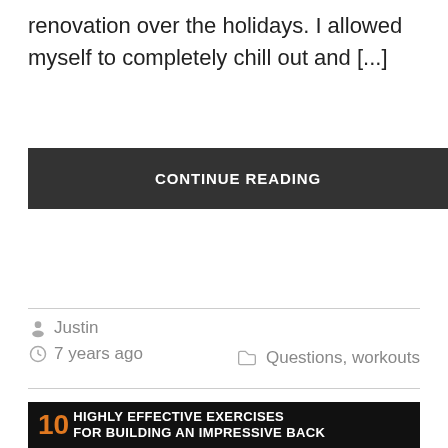renovation over the holidays. I allowed myself to completely chill out and [...]
CONTINUE READING
Justin
7 years ago
Questions, workouts
[Figure (illustration): Dark banner image with orange number '10' followed by white stylized text 'Highly Effective Exercises For Building An Impressive Back']